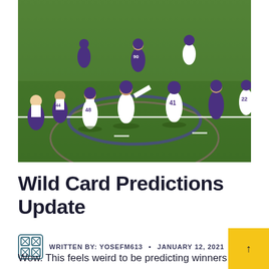[Figure (photo): NFL football players in purple and white Baltimore Ravens uniforms on a green field, appearing to be during a kickoff or special teams play. Players wearing jerseys numbered 48, 41, and others visible.]
Wild Card Predictions Update
WRITTEN BY: YOSEFM613  •  JANUARY 12, 2021
Wow. This feels weird to be predicting winners and before the games, not before the season. Here's ho